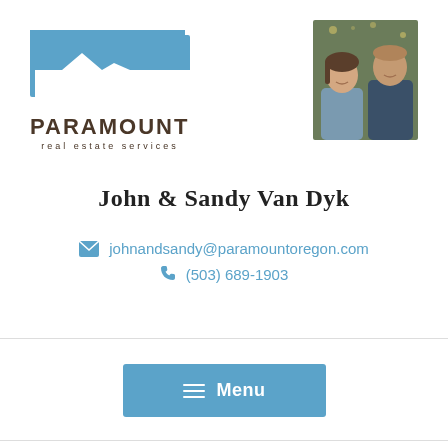[Figure (logo): Paramount Real Estate Services logo with blue house/mountain silhouette icon and text]
[Figure (photo): Photo of John and Sandy Van Dyk, a couple, smiling against a green leafy background]
John & Sandy Van Dyk
johnandsandy@paramountoregon.com
(503) 689-1903
Menu